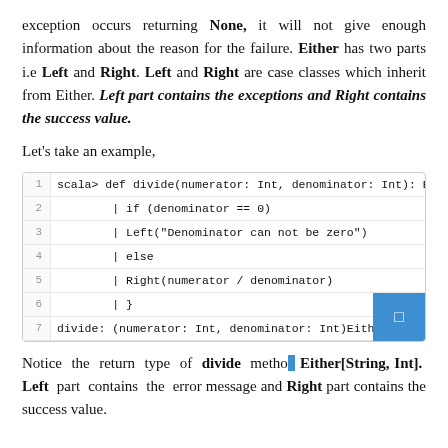exception occurs returning None, it will not give enough information about the reason for the failure. Either has two parts i.e Left and Right. Left and Right are case classes which inherit from Either. Left part contains the exceptions and Right contains the success value.
Let's take an example,
[Figure (screenshot): Scala code block showing a divide function definition with 7 numbered lines. Line 1: scala> def divide(numerator: Int, denominator: Int): Either[S. Line 2: | if (denominator == 0). Line 3: | Left("Denominator can not be zero"). Line 4: | else. Line 5: | Right(numerator / denominator). Line 6: | }. Line 7: divide: (numerator: Int, denominator: Int)Either[String,Int]]
Notice the return type of divide method Either[String, Int]. Left part contains the error message and Right part contains the success value.